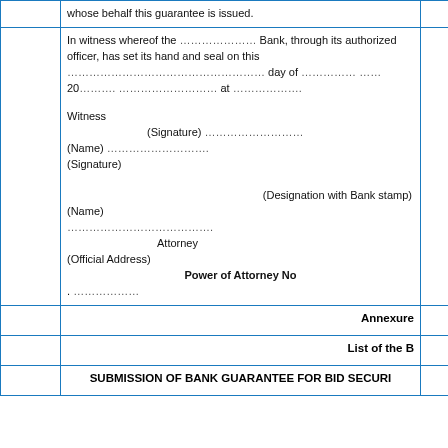whose behalf this guarantee is issued.
In witness whereof the ………………… Bank, through its authorized officer, has set its hand and seal on this ………………………………………… day of ………………… ……… 20……….. ………………………… at ………………..
Witness
(Signature) ………………….
(Name) ……………………….
(Signature)
(Designation with Bank stamp)
(Name)
……………………………….
Attorney
(Official Address)
Power of Attorney No
. ………………
Annexure
List of the B
SUBMISSION OF BANK GUARANTEE FOR BID SECURI